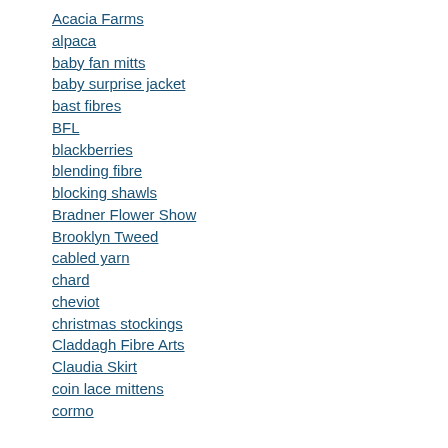Acacia Farms
alpaca
baby fan mitts
baby surprise jacket
bast fibres
BFL
blackberries
blending fibre
blocking shawls
Bradner Flower Show
Brooklyn Tweed
cabled yarn
chard
cheviot
christmas stockings
Claddagh Fibre Arts
Claudia Skirt
coin lace mittens
cormo